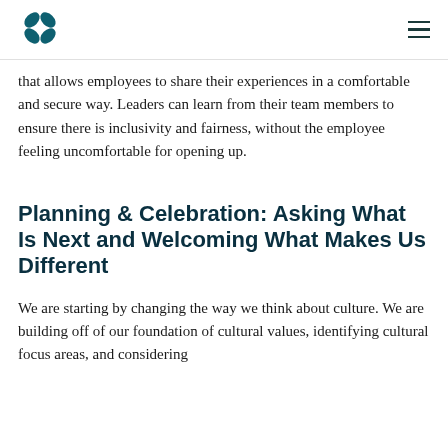[Logo] [Menu]
that allows employees to share their experiences in a comfortable and secure way. Leaders can learn from their team members to ensure there is inclusivity and fairness, without the employee feeling uncomfortable for opening up.
Planning & Celebration: Asking What Is Next and Welcoming What Makes Us Different
We are starting by changing the way we think about culture. We are building off of our foundation of cultural values, identifying cultural focus areas, and considering